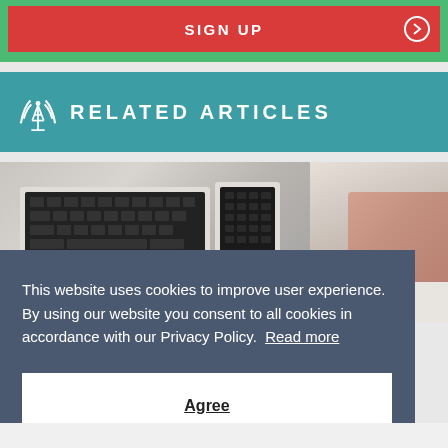SIGN UP
RELATED ARTICLES
[Figure (photo): Photo strip showing laptops on a desk and a person's hand on a notebook]
This website uses cookies to improve user experience. By using our website you consent to all cookies in accordance with our Privacy Policy. Read more
Agree